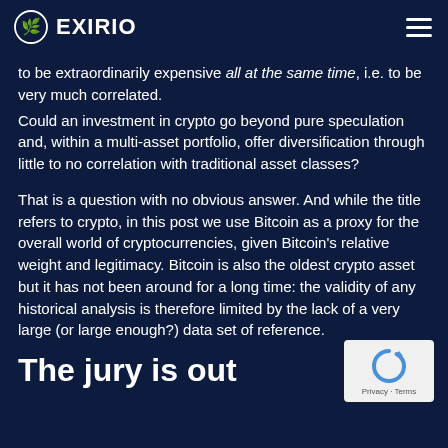EXIRIO
to be extraordinarily expensive all at the same time, i.e. to be very much correlated.
Could an investment in crypto go beyond pure speculation and, within a multi-asset portfolio, offer diversification through little to no correlation with traditional asset classes?
That is a question with no obvious answer. And while the title refers to crypto, in this post we use Bitcoin as a proxy for the overall world of cryptocurrencies, given Bitcoin’s relative weight and legitimacy. Bitcoin is also the oldest crypto asset but it has not been around for a long time: the validity of any historical analysis is therefore limited by the lack of a very large (or large enough?) data set of reference.
The jury is out